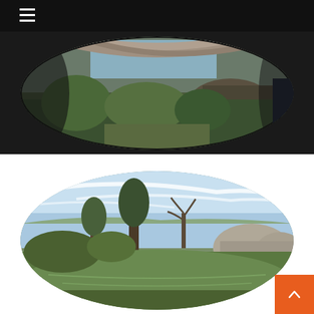Navigation menu (hamburger icon)
[Figure (photo): Panoramic oval-cropped photo of a greenhouse/dome interior with plants, curved structural elements, and natural light coming through]
[Figure (photo): Oval-cropped outdoor photo showing a pond or lake with trees, blue sky with wispy clouds, and dome-shaped structures visible in the background on the right]